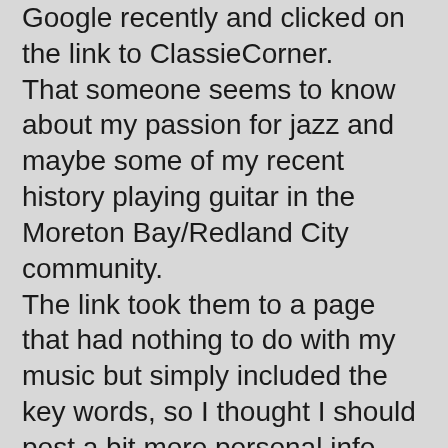Google recently and clicked on the link to ClassieCorner. That someone seems to know about my passion for jazz and maybe some of my recent history playing guitar in the Moreton Bay/Redland City community. The link took them to a page that had nothing to do with my music but simply included the key words, so I thought I should post a bit more personal info about my life in music and some of the influences (this link will tie you up for a while so crack a coldie before you click). This exercise has called for some serious name-dropping - jazz players, composers and personalities who have had an influence on me over many years. Some are famous and some don't even come up on an internet